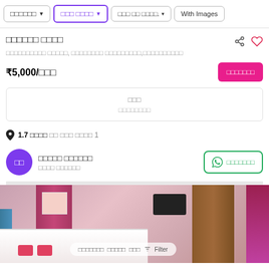Filter buttons: dropdown 1, dropdown 2 (active/selected), dropdown 3, With Images
□□□□□□ □□□□
□□□□□□□□□□ □□□□□, □□□□□□□□ □□□□□□□□□,□□□□□□□□□□
₹5,000/□□□
□□□ / □□□□□□□□
1.7 □□□□ □□ □□□ □□□□ 1
□□□□□ □□□□□□ / □□□□ □□□□□□
[Figure (photo): Interior photo of a furnished room with purple/red curtains, a dark wooden wardrobe, a TV mounted on wall, a bed with red pillows and teal/blue headboard, pink-toned walls with floral wallpaper. A semi-transparent overlay bar at the bottom shows filter options.]